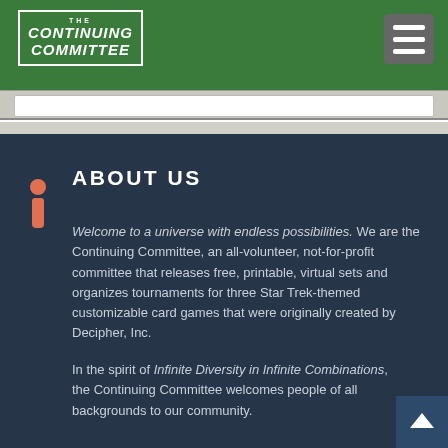The Continuing Committee
[Figure (logo): The Continuing Committee logo in white text on green background with border]
ABOUT US
Welcome to a universe with endless possibilities. We are the Continuing Committee, an all-volunteer, not-for-profit committee that releases free, printable, virtual sets and organizes tournaments for three Star Trek-themed customizable card games that were originally created by Decipher, Inc.
In the spirit of Infinite Diversity in Infinite Combinations, the Continuing Committee welcomes people of all backgrounds to our community.